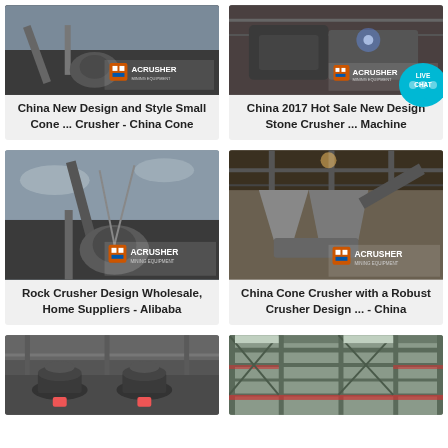[Figure (photo): Industrial cone crusher machinery photo with ACRUSHER MINING EQUIPMENT logo watermark]
China New Design and Style Small Cone ... Crusher - China Cone
[Figure (photo): Stone crusher machine industrial photo with ACRUSHER MINING EQUIPMENT logo watermark and live chat bubble]
China 2017 Hot Sale New Design Stone Crusher ... Machine
[Figure (photo): Rock crusher wholesale machinery outdoor photo with ACRUSHER MINING EQUIPMENT logo watermark]
Rock Crusher Design Wholesale, Home Suppliers - Alibaba
[Figure (photo): China cone crusher robust design indoor factory photo with ACRUSHER MINING EQUIPMENT logo watermark]
China Cone Crusher with a Robust Crusher Design ... - China
[Figure (photo): Large cone crusher machinery in factory interior]
[Figure (photo): Steel structure scaffolding factory interior photo]